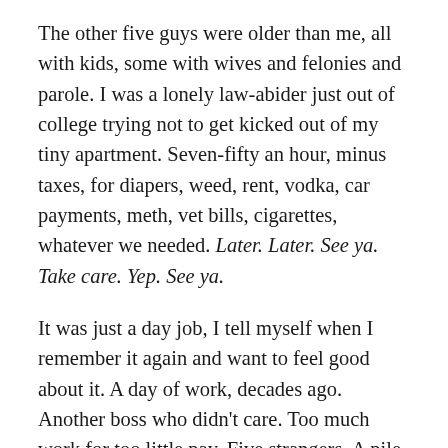The other five guys were older than me, all with kids, some with wives and felonies and parole. I was a lonely law-abider just out of college trying not to get kicked out of my tiny apartment. Seven-fifty an hour, minus taxes, for diapers, weed, rent, vodka, car payments, meth, vet bills, cigarettes, whatever we needed. Later. Later. See ya. Take care. Yep. See ya.
It was just a day job, I tell myself when I remember it again and want to feel good about it. A day of work, decades ago. Another boss who didn't care. Too much work for too little pay. Five strangers. A pile of snow in the moonlight behind the clubhouse with a single, black, whale's eye staring up from the middle of it.